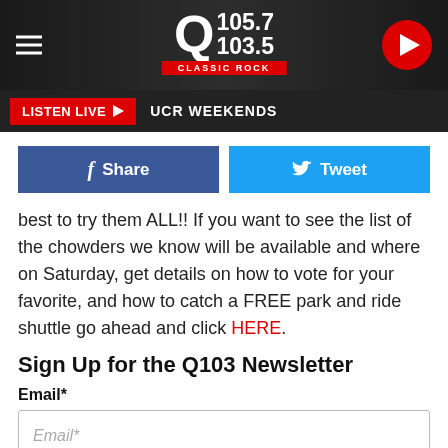[Figure (logo): Q105.7 / 103.5 Classic Rock radio station logo with hamburger menu and play button in dark header]
LISTEN LIVE ▶  UCR WEEKENDS
f Share
🐦 Tweet
best to try them ALL!! If you want to see the list of the chowders we know will be available and where on Saturday, get details on how to vote for your favorite, and how to catch a FREE park and ride shuttle go ahead and click HERE.
Sign Up for the Q103 Newsletter
Email*
SUBMIT